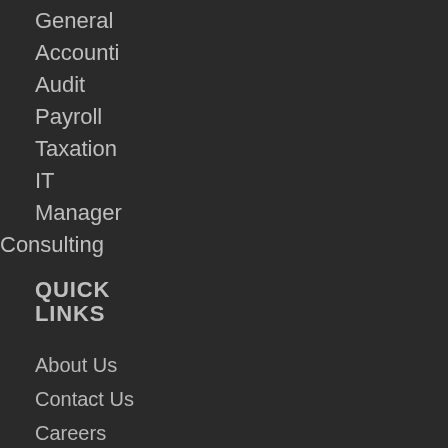General
Accounti
Audit
Payroll
Taxation
IT
Manager
Consulting
QUICK LINKS
About Us
Contact Us
Careers
Blogs